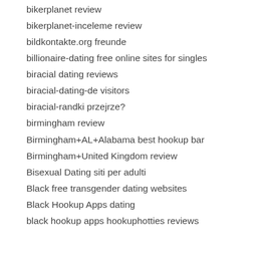bikerplanet review
bikerplanet-inceleme review
bildkontakte.org freunde
billionaire-dating free online sites for singles
biracial dating reviews
biracial-dating-de visitors
biracial-randki przejrze?
birmingham review
Birmingham+AL+Alabama best hookup bar
Birmingham+United Kingdom review
Bisexual Dating siti per adulti
Black free transgender dating websites
Black Hookup Apps dating
black hookup apps hookuphotties reviews